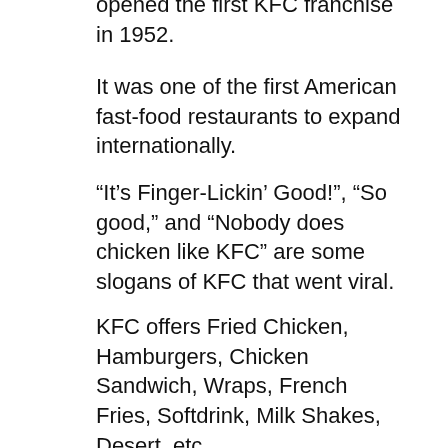opened the first KFC franchise in 1952.
It was one of the first American fast-food restaurants to expand internationally.
“It’s Finger-Lickin’ Good!”, “So good,” and “Nobody does chicken like KFC” are some slogans of KFC that went viral.
KFC offers Fried Chicken, Hamburgers, Chicken Sandwich, Wraps, French Fries, Softdrink, Milk Shakes, Desert, etc.
Reference Links
If you want to know more about the KFC South Africa customer Survey or SA KFC, you can check out some